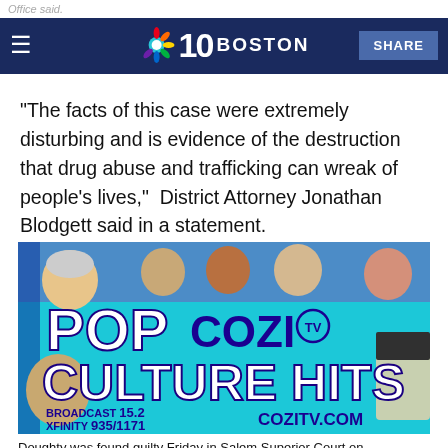NBC 10 Boston
"The facts of this case were extremely disturbing and is evidence of the destruction that drug abuse and trafficking can wreak of people's lives,"  District Attorney Jonathan Blodgett said in a statement.
[Figure (illustration): Advertisement for Cozi TV featuring 'POP COZI TV CULTURE HITS' text with celebrity faces on a teal background. Shows broadcast info: BROADCAST 15.2, XFINITY 935/1171, COZITV.COM]
Doughty was found guilty Friday in Salem Superior Court on